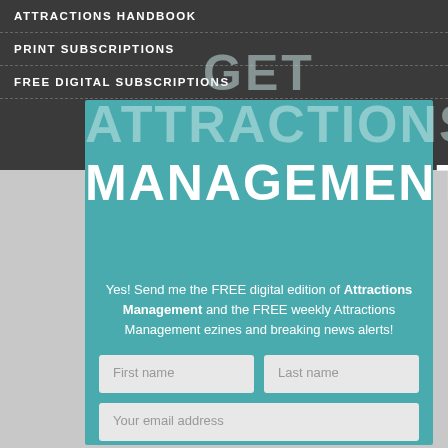ATTRACTIONS HANDBOOK
PRINT SUBSCRIPTIONS
FREE DIGITAL SUBSCRIPTIONS
GET ATTRACTIONS MANAGEMENT
Yes! Send me the FREE digital edition of Attractions Management and the FREE weekly Attractions Management ezines and breaking news alerts!
First name
Last name
Your email address
SIGN ME UP